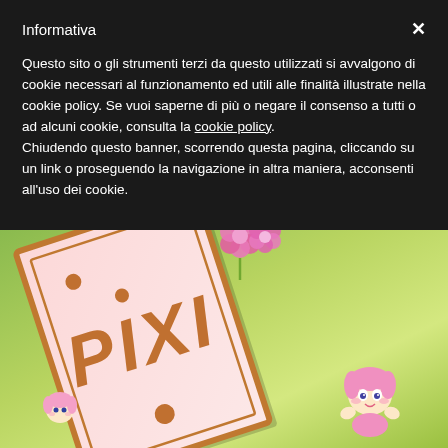Informativa
Questo sito o gli strumenti terzi da questo utilizzati si avvalgono di cookie necessari al funzionamento ed utili alle finalità illustrate nella cookie policy. Se vuoi saperne di più o negare il consenso a tutti o ad alcuni cookie, consulta la cookie policy.
Chiudendo questo banner, scorrendo questa pagina, cliccando su un link o proseguendo la navigazione in altra maniera, acconsenti all'uso dei cookie.
[Figure (illustration): A tilted pink book with orange border displaying the word 'PIXI' in large orange italic letters, with small dot decorations, pink flower decorations at the top, and a small cartoon character peeking from behind the bottom right of the book, set against a green gradient background.]